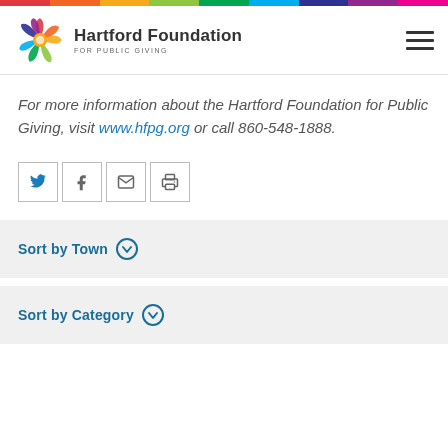Hartford Foundation FOR PUBLIC GIVING
For more information about the Hartford Foundation for Public Giving, visit www.hfpg.org or call 860-548-1888.
[Figure (infographic): Social sharing buttons: Twitter, Facebook, Email, Print]
Sort by Town
Sort by Category